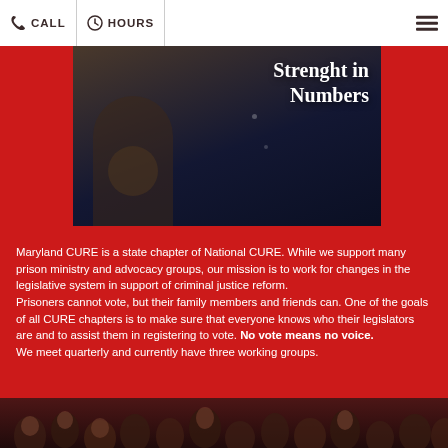CALL  HOURS
[Figure (photo): Dark photo of a person with overlaid text 'Strenght in Numbers' on a dark navy/brown background]
Maryland CURE is a state chapter of National CURE. While we support many prison ministry and advocacy groups, our mission is to work for changes in the legislative system in support of criminal justice reform.
Prisoners cannot vote, but their family members and friends can. One of the goals of all CURE chapters is to make sure that everyone knows who their legislators are and to assist them in registering to vote. No vote means no voice.
We meet quarterly and currently have three working groups.
[Figure (photo): Crowd of people looking upward, dark reddish tone, bottom of page]